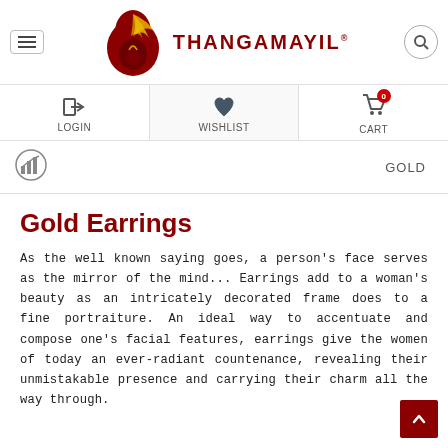[Figure (logo): Thangamayil jewellery logo - red teardrop/flame shape with gold peacock design and brand name THANGAMAYIL in dark red letters with registered trademark symbol]
LOGIN | WISHLIST | CART
GOLD
Gold Earrings
As the well known saying goes, a person's face serves as the mirror of the mind... Earrings add to a woman's beauty as an intricately decorated frame does to a fine portraiture. An ideal way to accentuate and compose one's facial features, earrings give the women of today an ever-radiant countenance, revealing their unmistakable presence and carrying their charm all the way through.